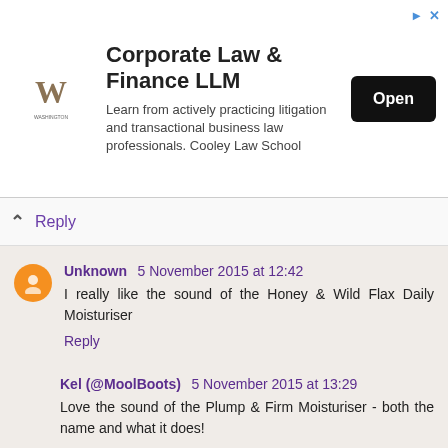[Figure (infographic): Advertisement banner for Corporate Law & Finance LLM from Cooley Law School with a university logo, descriptive text, and an Open button.]
Reply
Unknown 5 November 2015 at 12:42
I really like the sound of the Honey & Wild Flax Daily Moisturiser
Reply
Kel (@MoolBoots) 5 November 2015 at 13:29
Love the sound of the Plump & Firm Moisturiser - both the name and what it does!
Reply
janeyf 5 November 2015 at 16:18